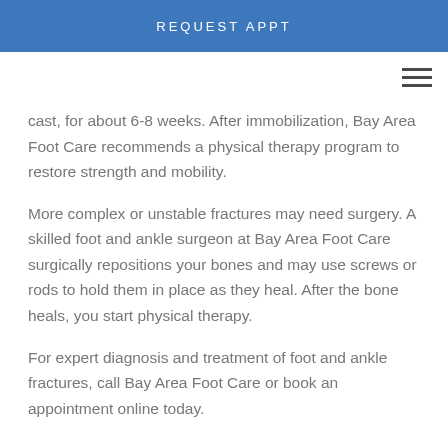REQUEST APPT
cast, for about 6-8 weeks. After immobilization, Bay Area Foot Care recommends a physical therapy program to restore strength and mobility.
More complex or unstable fractures may need surgery. A skilled foot and ankle surgeon at Bay Area Foot Care surgically repositions your bones and may use screws or rods to hold them in place as they heal. After the bone heals, you start physical therapy.
For expert diagnosis and treatment of foot and ankle fractures, call Bay Area Foot Care or book an appointment online today.